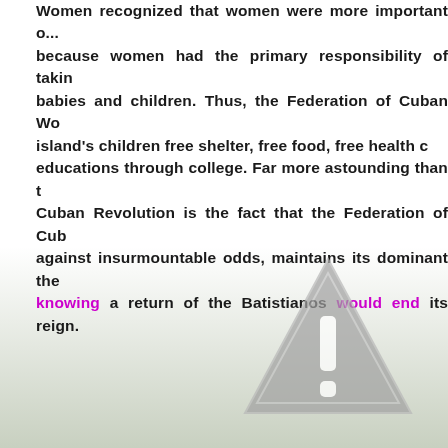Women recognized that women were more important o... because women had the primary responsibility of taking babies and children. Thus, the Federation of Cuban Wo... island's children free shelter, free food, free health c... educations through college. Far more astounding than t... Cuban Revolution is the fact that the Federation of Cub... against insurmountable odds, maintains its dominant the... knowing a return of the Batistianos would end its reign.
[Figure (illustration): A gray warning triangle with an exclamation mark, indicating a caution or alert symbol]